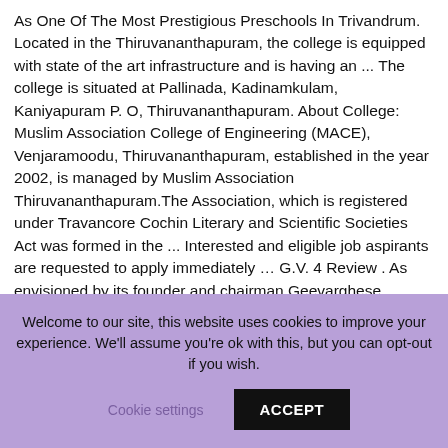As One Of The Most Prestigious Preschools In Trivandrum. Located in the Thiruvananthapuram, the college is equipped with state of the art infrastructure and is having an ... The college is situated at Pallinada, Kadinamkulam, Kaniyapuram P. O, Thiruvananthapuram. About College: Muslim Association College of Engineering (MACE), Venjaramoodu, Thiruvananthapuram, established in the year 2002, is managed by Muslim Association Thiruvananthapuram.The Association, which is registered under Travancore Cochin Literary and Scientific Societies Act was formed in the ... Interested and eligible job aspirants are requested to apply immediately … G.V. 4 Review . As envisioned by its founder and chairman Geevarghese Yohannan, the institution is committed to providing world class education supported by state-of-the-art infrastructure and technology aided teaching.MGM
Welcome to our site, this website uses cookies to improve your experience. We'll assume you're ok with this, but you can opt-out if you wish. Cookie settings ACCEPT